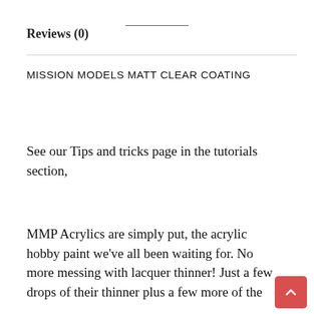Reviews (0)
MISSION MODELS MATT CLEAR COATING
See our Tips and tricks page in the tutorials section,
MMP Acrylics are simply put, the acrylic hobby paint we’ve all been waiting for. No more messing with lacquer thinner! Just a few drops of their thinner plus a few more of the